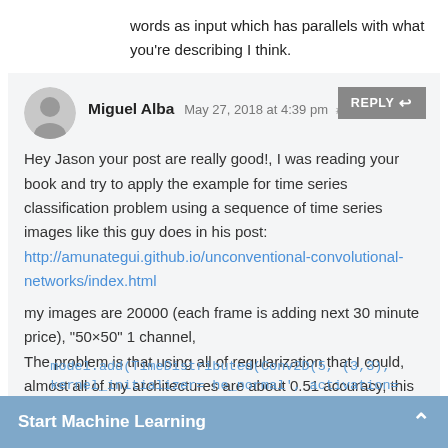words as input which has parallels with what you're describing I think.
Miguel Alba May 27, 2018 at 4:39 pm #
Hey Jason your post are really good!, I was reading your book and try to apply the example for time series classification problem using a sequence of time series images like this guy does in his post: http://amunategui.github.io/unconventional-convolutional-networks/index.html

my images are 20000 (each frame is adding next 30 minute price), "50×50" 1 channel,
The problem is that using all of regularization that I could, almost all of my architectures are about 0.51 accuracy, this is the last that I made:

model = Sequential()
model.add(TimeDistributed(Conv2D(5, (3,3), kernel_initializer= he_normal', activation=